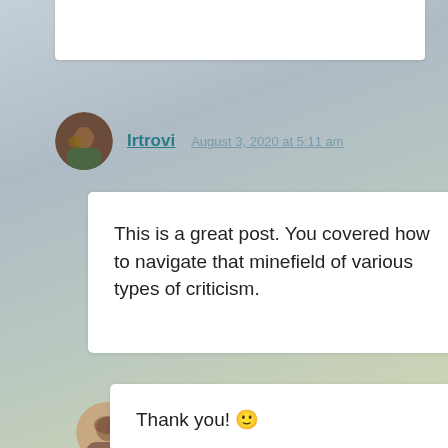Irtrovi
August 3, 2020 at 5:11 am
This is a great post. You covered how to navigate that minefield of various types of criticism.
Lori Ann Freeland
August 3, 2020 at 9:17 am
Thank you! 🙂